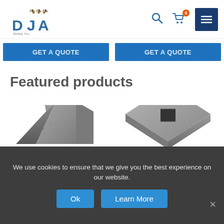[Figure (logo): DJA brand logo with ornamental design above text 'DJA' in blue with small subtitle]
[Figure (infographic): Navigation bar with search icon, shopping cart with badge showing 0, and dark blue hamburger menu button]
[Figure (infographic): Two blue CTA buttons side by side, partially cut off text]
Featured products
[Figure (photo): Gray metal post cap with pyramidal shape, square hole on top]
[Figure (photo): Gray flat metal plate with square hole in the center, viewed from above at an angle]
We use cookies to ensure that we give you the best experience on our website.